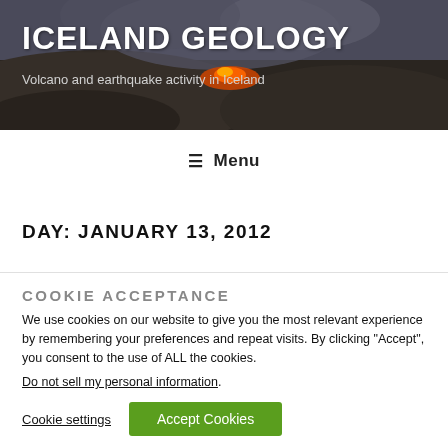ICELAND GEOLOGY
Volcano and earthquake activity in Iceland
☰ Menu
DAY: JANUARY 13, 2012
COOKIE ACCEPTANCE
We use cookies on our website to give you the most relevant experience by remembering your preferences and repeat visits. By clicking "Accept", you consent to the use of ALL the cookies.
Do not sell my personal information.
Cookie settings  Accept Cookies